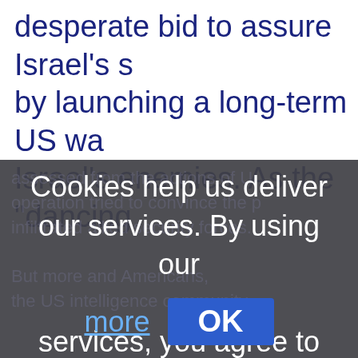desperate bid to assure Israel's [s] by launching a long-term US wa[r on] Israel's enemies. As the "dancing[
Cookies help us deliver our services. By using our services, you agree to our use of cookies. Learn more [OK]